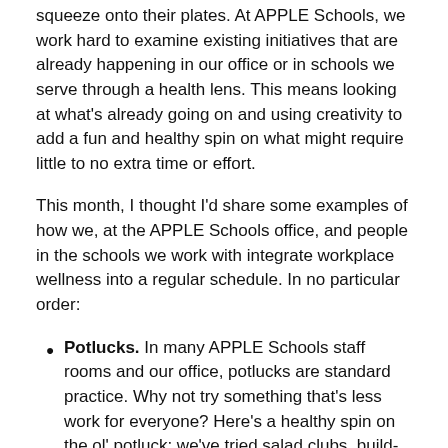squeeze onto their plates. At APPLE Schools, we work hard to examine existing initiatives that are already happening in our office or in schools we serve through a health lens. This means looking at what's already going on and using creativity to add a fun and healthy spin on what might require little to no extra time or effort.
This month, I thought I'd share some examples of how we, at the APPLE Schools office, and people in the schools we work with integrate workplace wellness into a regular schedule. In no particular order:
Potlucks. In many APPLE Schools staff rooms and our office, potlucks are standard practice. Why not try something that's less work for everyone? Here's a healthy spin on the ol' potluck: we've tried salad clubs, build-your-own wraps/burrito bowl/taco stations and even a baked potato bar! Individuals sign up to bring one ingredient, ready to share, for the group to add as a topping, base or condiment for the meal. It sure is easier to bring cut-up cucumbers versus a full appetizer for all to share. Plus, there are usually plenty of leftovers for the healthy meal to last for a second lunch—bonus! In addition to the healthy